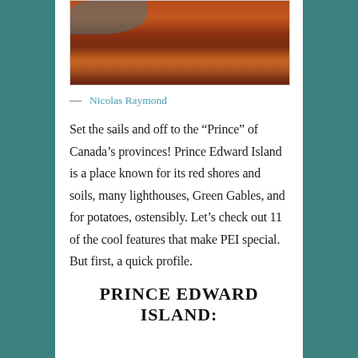[Figure (photo): Photograph of Prince Edward Island red sandstone cliffs and shoreline at dusk/sunset, showing characteristic red rock formations with water in the background.]
— Nicolas Raymond
Set the sails and off to the “Prince” of Canada’s provinces! Prince Edward Island is a place known for its red shores and soils, many lighthouses, Green Gables, and for potatoes, ostensibly. Let’s check out 11 of the cool features that make PEI special. But first, a quick profile.
PRINCE EDWARD ISLAND: